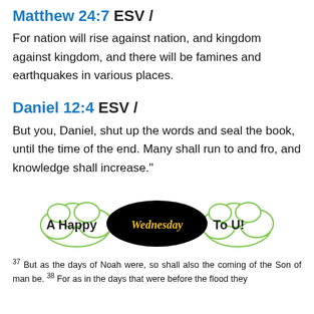Matthew 24:7 ESV /
For nation will rise against nation, and kingdom against kingdom, and there will be famines and earthquakes in various places.
Daniel 12:4 ESV /
But you, Daniel, shut up the words and seal the book, until the time of the end. Many shall run to and fro, and knowledge shall increase."
[Figure (illustration): Decorative cloud-shaped banner with text 'A Happy Wednesday To U!' — clouds in white with green outline, 'Wednesday' in a black oval with yellow cursive text.]
37 But as the days of Noah were, so shall also the coming of the Son of man be. 38 For as in the days that were before the flood they